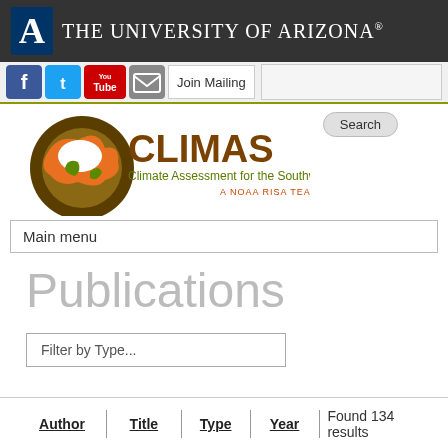[Figure (logo): University of Arizona logo with 'A' emblem and text 'The University of Arizona®' on dark header bar]
[Figure (infographic): Social media bar with Facebook, Twitter, YouTube, mail icons and Join Mailing button, plus search input area]
[Figure (logo): CLIMAS logo - Climate Assessment for the Southwest, A NOAA RISA TEAM, with Search bubble button]
Main menu
Publications
Filter by Type...
▶ Search
| Author | Title | Type | Year | Found 134 results |
| --- | --- | --- | --- | --- |